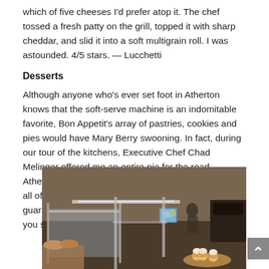which of five cheeses I'd prefer atop it. The chef tossed a fresh patty on the grill, topped it with sharp cheddar, and slid it into a soft multigrain roll. I was astounded. 4/5 stars. — Lucchetti
Desserts
Although anyone who's ever set foot in Atherton knows that the soft-serve machine is an indomitable favorite, Bon Appetit's array of pastries, cookies and pies would have Mary Berry swooning. In fact, during our tour of the kitchens, Executive Chef Chad Melinger offered me an entire pie for the road. Atherton could never. Bon Appetit makes and bakes all of their desserts in-house, meaning that you're guaranteed gooey, fresh-baked brownies any time you step foot in the dining hall. 4/5 stars. — Early
[Figure (photo): Interior of a dining hall with food service counters, display cases with baked goods including cupcakes, and a person visible in the background near kitchen equipment.]